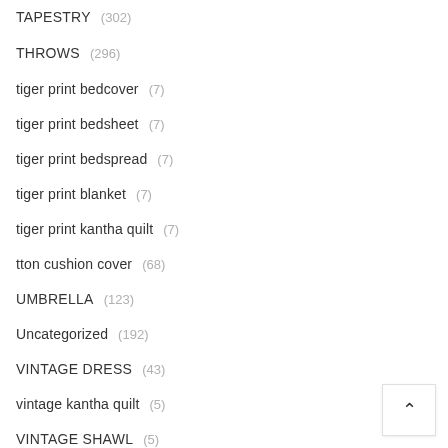TAPESTRY (302)
THROWS (296)
tiger print bedcover (7)
tiger print bedsheet (7)
tiger print bedspread (7)
tiger print blanket (7)
tiger print kantha quilt (7)
tton cushion cover (68)
UMBRELLA (123)
Uncategorized (192)
VINTAGE DRESS (43)
vintage kantha quilt (5)
VINTAGE SHAWL (5)
wall decors (5)